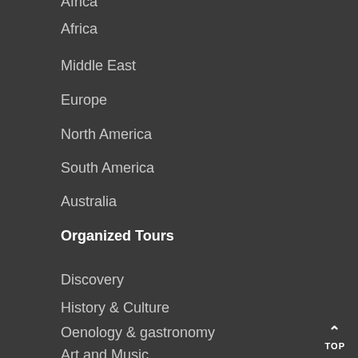Africa
Middle East
Europe
North America
South America
Australia
Organized Tours
Discovery
History & Culture
Oenology & gastronomy
Art and Music